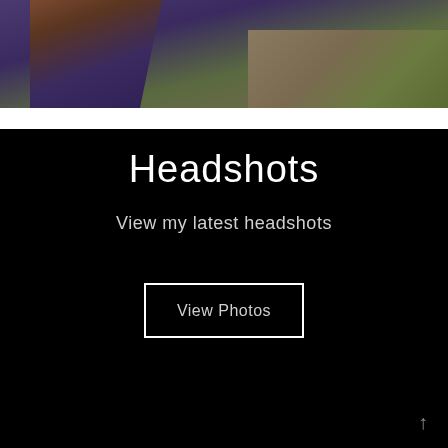[Figure (photo): Partial photo showing a person in a blue top with brown hair, against a desert/ground background. Only the top portion of the image is visible.]
Headshots
View my latest headshots
View Photos